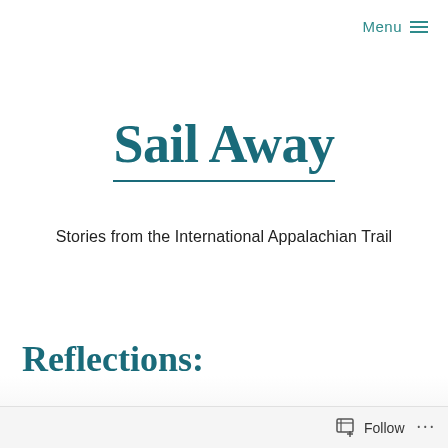Menu ≡
Sail Away
Stories from the International Appalachian Trail
Reflections:
Follow ...